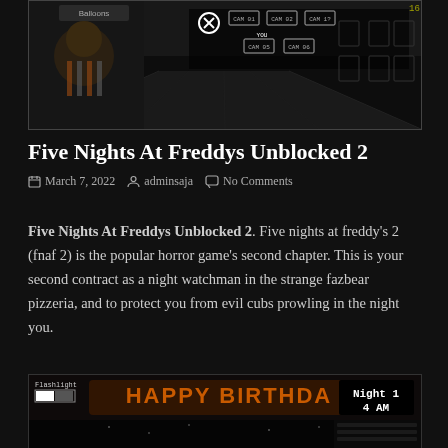[Figure (screenshot): Five Nights at Freddy's 2 game screenshot showing camera map view with animatronic character on left holding a sign saying Balloons, and camera grid overlay in dark corridor]
Five Nights At Freddys Unblocked 2
March 7, 2022  adminsaja  No Comments
Five Nights At Freddys Unblocked 2. Five nights at freddy's 2 (fnaf 2) is the popular horror game's second chapter. This is your second contract as a night watchman in the strange fazbear pizzeria, and to protect you from evil cubs prowling in the night you.
[Figure (screenshot): Five Nights at Freddy's game screenshot showing Happy Birthday banner, Night 1 4 AM display, flashlight meter, and close button overlay]